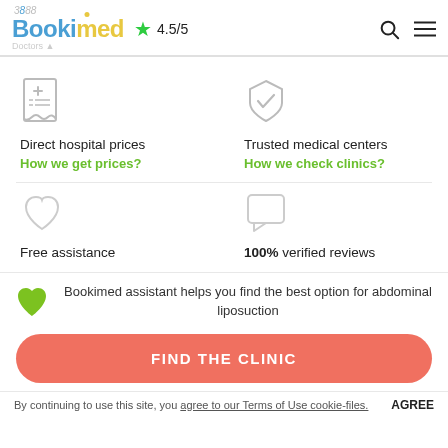[Figure (logo): Bookimed logo with blue 'Book' and yellow 'imed' text, rating 4.5/5 with green star, search and menu icons]
Direct hospital prices
How we get prices?
Trusted medical centers
How we check clinics?
Free assistance
100% verified reviews
Bookimed assistant helps you find the best option for abdominal liposuction
FIND THE CLINIC
By continuing to use this site, you agree to our Terms of Use cookie-files.